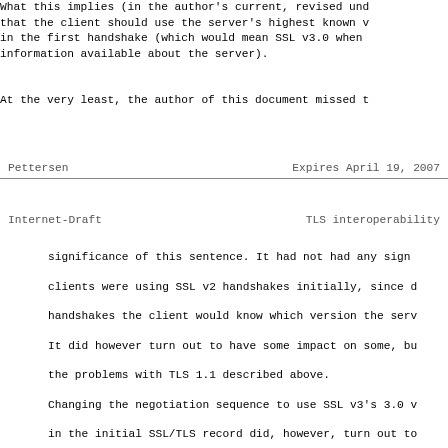What this implies (in the author's current, revised und that the client should use the server's highest known v in the first handshake (which would mean SSL v3.0 when information available about the server).
At the very least, the author of this document missed t
Pettersen                    Expires April 19, 2007
Internet-Draft               TLS interoperability
significance of this sentence.  It had not any sign clients were using SSL v2 handshakes initially, since d handshakes the client would know which version the serv It did however turn out to have some impact on some, bu the problems with TLS 1.1 described above.
Changing the negotiation sequence to use SSL v3's 3.0 v in the initial SSL/TLS record did, however, turn out to another incorrect use of the Record Protocol version nu servers use it as the Client's Requested SSL/TLS protoc field instead of the Client Hello message field.
This means that a client using an SSL v3.0 record to re 1.0 connection from a TLS 1.0 capable server in some ca got an SSL v3 connection instead.  Curiously, it does n the RSA Client Key Exchange test for version roll back